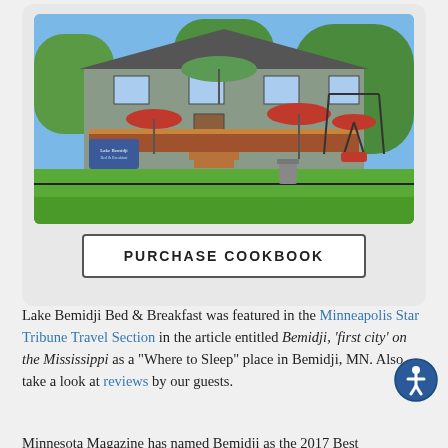[Figure (photo): Exterior photo of Lake Bemidji Bed & Breakfast showing a house with a deck, red umbrellas, swing chairs, a green lawn, and a decorative fence in the foreground.]
PURCHASE COOKBOOK
Lake Bemidji Bed & Breakfast was featured in the Minneapolis Star Tribune Travel Section in the article entitled Bemidji, 'first city' on the Mississippi as a "Where to Sleep" place in Bemidji, MN. Also, take a look at reviews by our guests.
Minnesota Magazine has named Bemidji as the 2017 Best